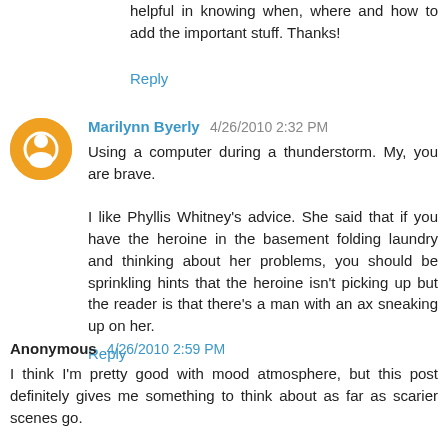helpful in knowing when, where and how to add the important stuff. Thanks!
Reply
Marilynn Byerly 4/26/2010 2:32 PM
Using a computer during a thunderstorm. My, you are brave.
I like Phyllis Whitney's advice. She said that if you have the heroine in the basement folding laundry and thinking about her problems, you should be sprinkling hints that the heroine isn't picking up but the reader is that there's a man with an ax sneaking up on her.
Reply
Anonymous 4/26/2010 2:59 PM
I think I'm pretty good with mood atmosphere, but this post definitely gives me something to think about as far as scarier scenes go.